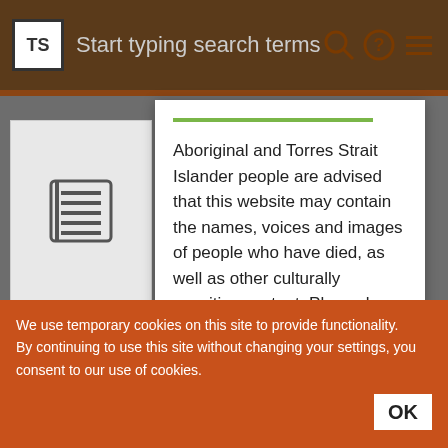Start typing search terms
[Figure (screenshot): White modal dialog with green top line containing cultural sensitivity warning for Aboriginal and Torres Strait Islander people]
Aboriginal and Torres Strait Islander people are advised that this website may contain the names, voices and images of people who have died, as well as other culturally sensitive content. Please be aware that some collection items may use outdated phrases or words which reflect the attitude of the creator at the time, and are now considered offensive
We use temporary cookies on this site to provide functionality.
By continuing to use this site without changing your settings, you consent to our use of cookies.